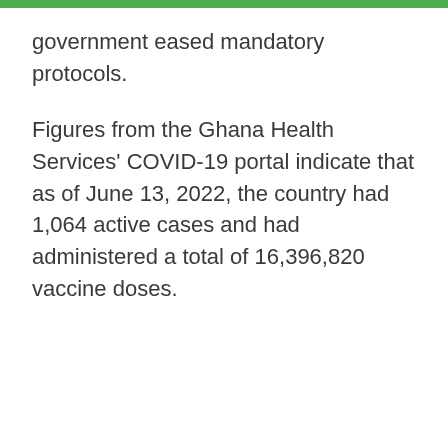government eased mandatory protocols.
Figures from the Ghana Health Services' COVID-19 portal indicate that as of June 13, 2022, the country had 1,064 active cases and had administered a total of 16,396,820 vaccine doses.